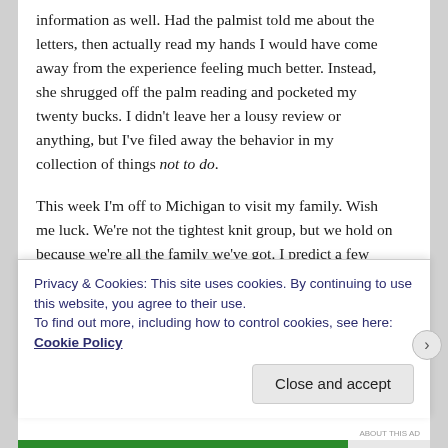information as well. Had the palmist told me about the letters, then actually read my hands I would have come away from the experience feeling much better. Instead, she shrugged off the palm reading and pocketed my twenty bucks. I didn't leave her a lousy review or anything, but I've filed away the behavior in my collection of things not to do.
This week I'm off to Michigan to visit my family. Wish me luck. We're not the tightest knit group, but we hold on because we're all the family we've got. I predict a few arguments, hurt feelings, and probably a cat fight. Real cats. My big, orange, tabby travels with me, and my mother's calico princess tends to view him as a usurper. I
Privacy & Cookies: This site uses cookies. By continuing to use this website, you agree to their use.
To find out more, including how to control cookies, see here: Cookie Policy